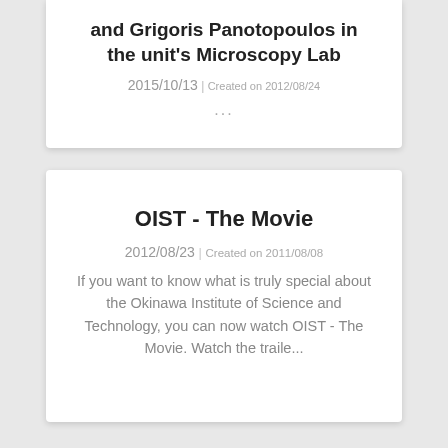and Grigoris Panotopoulos in the unit's Microscopy Lab
2015/10/13 | Created on 2012/08/24
...
OIST - The Movie
2012/08/23 | Created on 2011/08/08
If you want to know what is truly special about the Okinawa Institute of Science and Technology, you can now watch OIST - The Movie. Watch the traile...